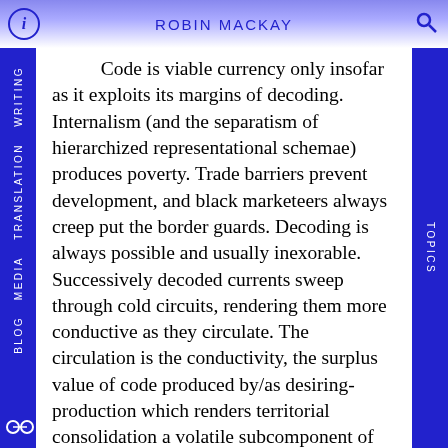ROBIN MACKAY
Code is viable currency only insofar as it exploits its margins of decoding. Internalism (and the separatism of hierarchized representational schemae) produces poverty. Trade barriers prevent development, and black marketeers always creep put the border guards. Decoding is always possible and usually inexorable. Successively decoded currents sweep through cold circuits, rendering them more conductive as they circulate. The circulation is the conductivity, the surplus value of code produced by/as desiring-production which renders territorial consolidation a volatile subcomponent of the material process. ‘Stages’ of capitalism are nomadic encampments. All currencies float on the full body of capital, and in their mobilization, mutate.